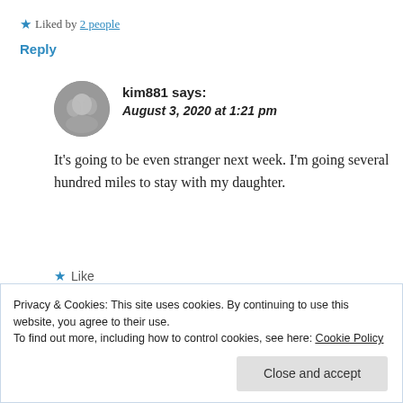★ Liked by 2 people
Reply
kim881 says: August 3, 2020 at 1:21 pm
It's going to be even stranger next week. I'm going several hundred miles to stay with my daughter.
★ Like
Privacy & Cookies: This site uses cookies. By continuing to use this website, you agree to their use.
To find out more, including how to control cookies, see here: Cookie Policy
Close and accept